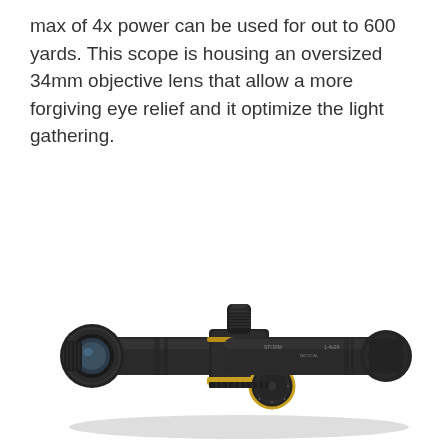max of 4x power can be used for out to 600 yards. This scope is housing an oversized 34mm objective lens that allow a more forgiving eye relief and it optimize the light gathering.
[Figure (photo): A rifle scope with black matte finish, featuring a large objective lens on the left, adjustment turrets in the middle with a gold-colored accent ring, and the eyepiece on the right. The scope appears to be a low-power variable optic (LPVO).]